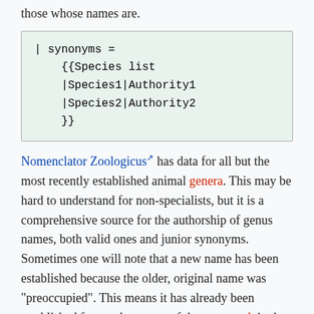those whose names are.
[Figure (screenshot): Code box showing wiki template syntax: | synonyms = {{Species list |Species1|Authority1 |Species2|Authority2 }}]
Nomenclator Zoologicus [external link] has data for all but the most recently established animal genera. This may be hard to understand for non-specialists, but it is a comprehensive source for the authorship of genus names, both valid ones and junior synonyms. Sometimes one will note that a new name has been established because the older, original name was "preoccupied". This means it has already been established for another taxon of the same rank in the